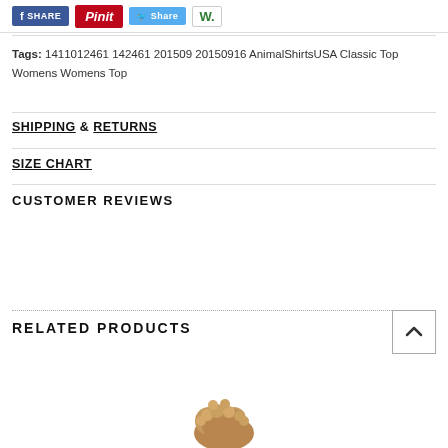[Figure (screenshot): Social share buttons: Facebook Share, Pinterest Pin it, Twitter Share, and W (Wanelo) buttons]
Tags: 1411012461 142461 201509 20150916 AnimalShirtsUSA Classic Top Womens Womens Top
SHIPPING & RETURNS
SIZE CHART
CUSTOMER REVIEWS
RELATED PRODUCTS
[Figure (photo): Partial product image showing a fluffy brown animal/dog at the bottom of the page]